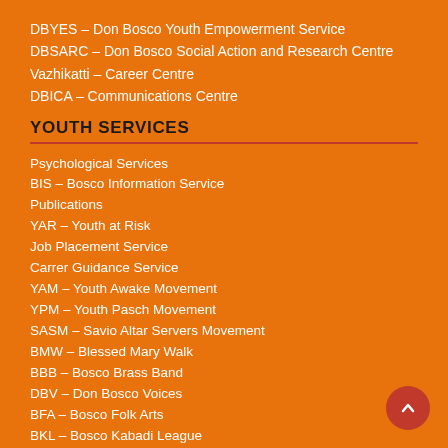DBYES – Don Bosco Youth Empowerment Service
DBSARC – Don Bosco Social Action and Research Centre
Vazhikatti – Career Centre
DBICA – Communications Centre
YOUTH SERVICES
Psychological Services
BIS – Bosco Information Service
Publications
YAR – Youth at Risk
Job Placement Service
Carrer Guidance Service
YAM – Youth Awake Movement
YPM – Youth Pasch Movement
SASM – Savio Altar Servers Movement
BMW – Blessed Mary Walk
BBB – Bosco Brass Band
DBV – Don Bosco Voices
BFA – Bosco Folk Arts
BKL – Bosco Kabadi League
BKK – Bosco Karuthu Kalam